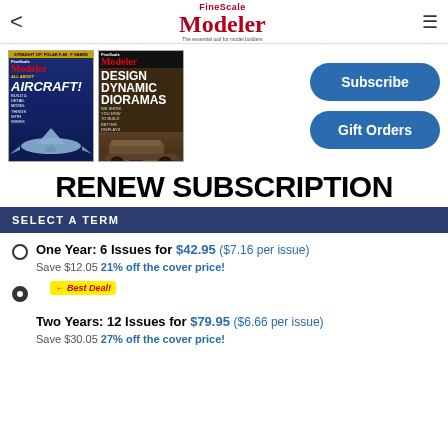FineScale Modeler — The essential tool for model builders
[Figure (photo): Two FineScale Modeler magazine covers: one featuring AIRCRAFT! with a WWII fighter plane, another featuring Design Dynamic Dioramas with a tank scene]
Subscribe
Gift Orders
RENEW SUBSCRIPTION
SELECT A TERM
One Year: 6 Issues for $42.95 ($7.16 per issue)
Save $12.05 21% off the cover price!
Two Years: 12 Issues for $79.95 ($6.66 per issue)
Save $30.05 27% off the cover price!